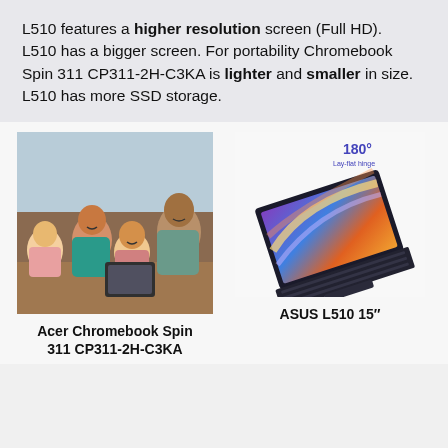L510 features a higher resolution screen (Full HD).
L510 has a bigger screen. For portability Chromebook Spin 311 CP311-2H-C3KA is lighter and smaller in size.
L510 has more SSD storage.
[Figure (photo): Family of four (two adults and two children) looking at a tablet together, smiling. Acer Chromebook Spin product image.]
Acer Chromebook Spin 311 CP311-2H-C3KA
[Figure (photo): ASUS L510 15 inch laptop shown open at 180 degrees lay-flat hinge position, with colorful display showing abstract light streaks.]
ASUS L510 15"